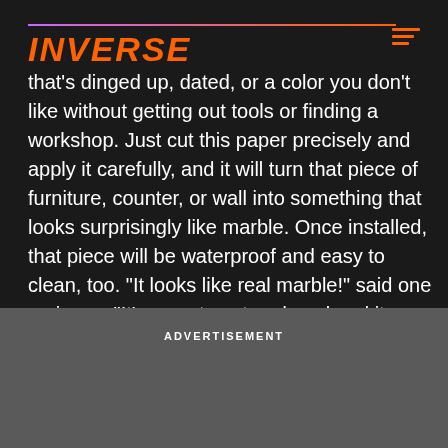INVERSE
that's dinged up, dated, or a color you don't like without getting out tools or finding a workshop. Just cut this paper precisely and apply it carefully, and it will turn that piece of furniture, counter, or wall into something that looks surprisingly like marble. Once installed, that piece will be waterproof and easy to clean, too. “It looks like real marble!” said one reviewer. “It’s easy to cut and peel and it stays. It’s really thick which makes it so real.”
ADVERTISEMENT